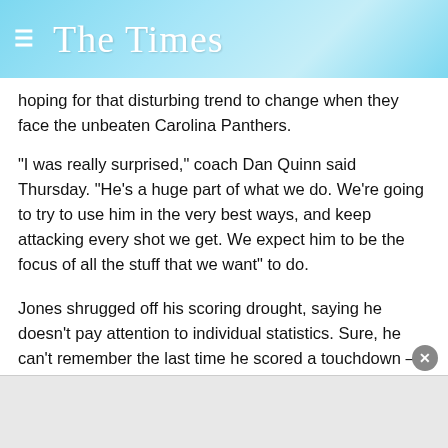The Times
hoping for that disturbing trend to change when they face the unbeaten Carolina Panthers.
“I was really surprised,” coach Dan Quinn said Thursday. “He’s a huge part of what we do. We’re going to try to use him in the very best ways, and keep attacking every shot we get. We expect him to be the focus of all the stuff that we want” to do.
Jones shrugged off his scoring drought, saying he doesn’t pay attention to individual statistics. Sure, he can’t remember the last time he scored a touchdown — it was Nov. 1 against